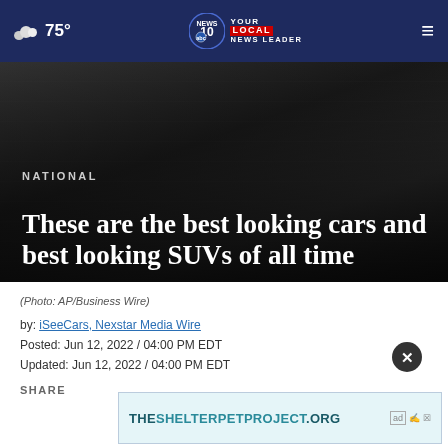75° — NEWS 10 YOUR LOCAL NEWS LEADER
[Figure (photo): Dark hero image showing a car, serving as article header background]
NATIONAL
These are the best looking cars and best looking SUVs of all time
(Photo: AP/Business Wire)
by: iSeeCars, Nexstar Media Wire
Posted: Jun 12, 2022 / 04:00 PM EDT
Updated: Jun 12, 2022 / 04:00 PM EDT
SHARE
[Figure (other): Ad banner for THESHELTERPETPROJECT.ORG]